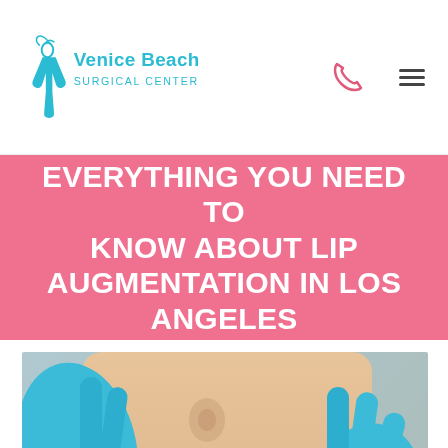Venice Beach Surgical Center
EVERYTHING YOU NEED TO KNOW ABOUT LIP AUGMENTATION IN LOS ANGELES
[Figure (photo): Close-up photo of a woman's lower face receiving a lip injection from a gloved medical professional holding a syringe, with blue latex gloves visible on both sides. An overlay card at the bottom repeats the article title and Venice Beach Surgical Center logo.]